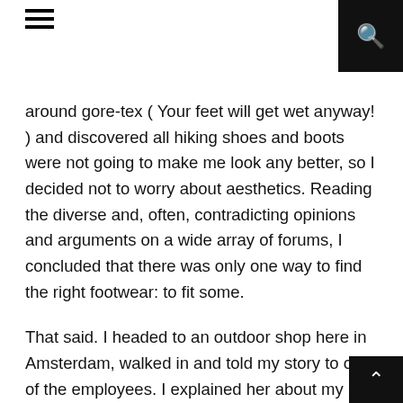≡  🔍
around gore-tex ( Your feet will get wet anyway! ) and discovered all hiking shoes and boots were not going to make me look any better, so I decided not to worry about aesthetics. Reading the diverse and, often, contradicting opinions and arguments on a wide array of forums, I concluded that there was only one way to find the right footwear: to fit some.
That said. I headed to an outdoor shop here in Amsterdam, walked in and told my story to one of the employees. I explained her about my doubts concerning shoes with ankle support, my preference for shoes without gore-tex and also provided her with the information that I was going to walk 2500 kilometres and would be carrying about 10 kilograms my back.